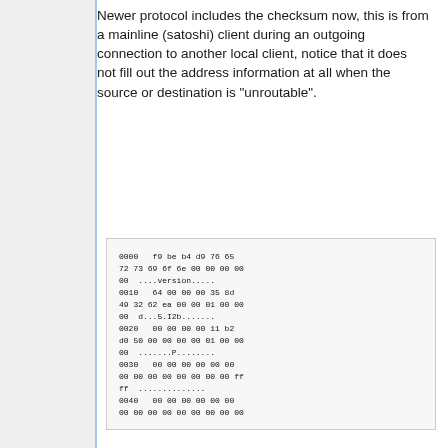Newer protocol includes the checksum now, this is from a mainline (satoshi) client during an outgoing connection to another local client, notice that it does not fill out the address information at all when the source or destination is "unroutable".
[Figure (other): Hex dump showing network protocol data with offsets 0000, 0010, 0020, 0030, 0040 and corresponding hex bytes and ASCII representation]